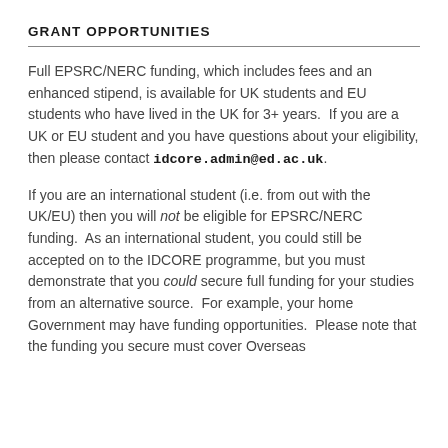GRANT OPPORTUNITIES
Full EPSRC/NERC funding, which includes fees and an enhanced stipend, is available for UK students and EU students who have lived in the UK for 3+ years.  If you are a UK or EU student and you have questions about your eligibility, then please contact idcore.admin@ed.ac.uk.
If you are an international student (i.e. from out with the UK/EU) then you will not be eligible for EPSRC/NERC funding.  As an international student, you could still be accepted on to the IDCORE programme, but you must demonstrate that you could secure full funding for your studies from an alternative source.  For example, your home Government may have funding opportunities.  Please note that the funding you secure must cover Overseas